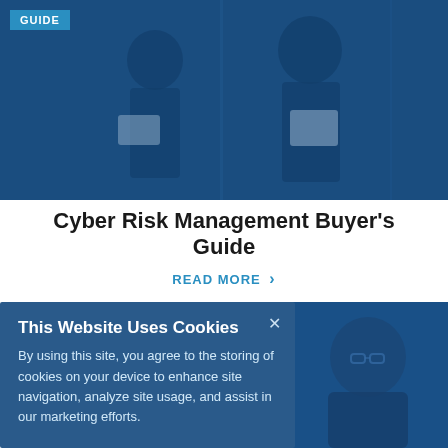[Figure (photo): Two women in a blue-tinted office setting, both holding tablet devices, viewed through glass. Blue overlay tint on photograph.]
GUIDE
Cyber Risk Management Buyer's Guide
READ MORE ›
This Website Uses Cookies
By using this site, you agree to the storing of cookies on your device to enhance site navigation, analyze site usage, and assist in our marketing efforts.
[Figure (photo): Close-up portrait of a man wearing glasses, blue-tinted photograph.]